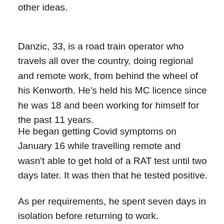when he tried to cross the NT/SA border, authorities had other ideas.
Danzic, 33, is a road train operator who travels all over the country, doing regional and remote work, from behind the wheel of his Kenworth. He's held his MC licence since he was 18 and been working for himself for the past 11 years.
He began getting Covid symptoms on January 16 while travelling remote and wasn't able to get hold of a RAT test until two days later. It was then that he tested positive.
As per requirements, he spent seven days in isolation before returning to work.